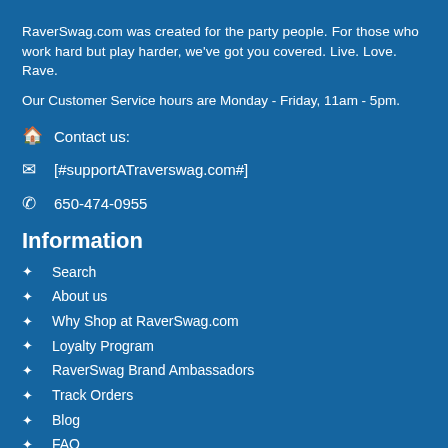RaverSwag.com was created for the party people. For those who work hard but play harder, we've got you covered. Live. Love. Rave.
Our Customer Service hours are Monday - Friday, 11am - 5pm.
🏠 Contact us:
✉ [#supportATraverswag.com#]
📞 650-474-0955
Information
Search
About us
Why Shop at RaverSwag.com
Loyalty Program
RaverSwag Brand Ambassadors
Track Orders
Blog
FAQ
Shipping & Delivery